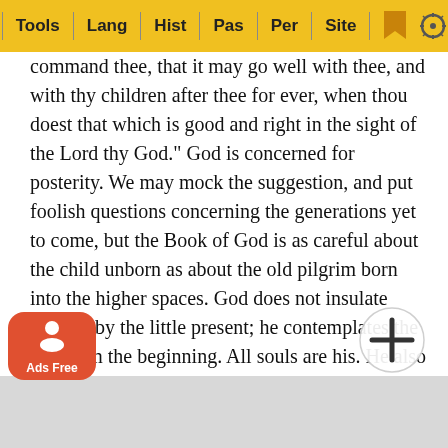Tools | Lang | Hist | Pas | Per | Site
command thee, that it may go well with thee, and with thy children after thee for ever, when thou doest that which is good and right in the sight of the Lord thy God." God is concerned for posterity. We may mock the suggestion, and put foolish questions concerning the generations yet to come, but the Book of God is as careful about the child unborn as about the old pilgrim born into the higher spaces. God does not insulate himself by the little present; he contemplates the end from the beginning. All souls are his. He also puts it into our care to regard the welfare of our successors. There is a sense in which we all have a posterity some in a narrower, some in a larger sense; but we all have a succession: we are influencing to-morrow by our spirit and action today. How mad are they and how guilty of the [cruelest] murder who go on indulging every desire, satisfying every appetite, satisfying every wish, forgetting that they are in[fluencing posteri]ty, and de[stroying the futu]re is the gr[eatest sin against G]od